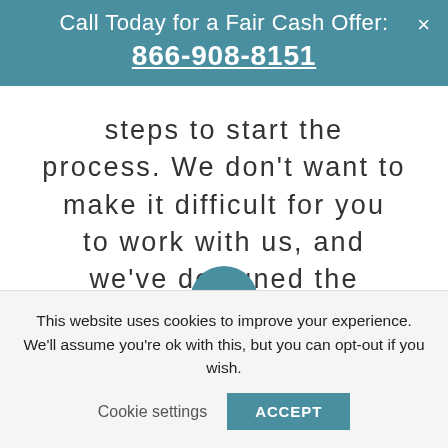Call Today for a Fair Cash Offer: 866-908-8151
steps to start the process. We don't want to make it difficult for you to work with us, and we've designed the process with your convenience in mind.
This website uses cookies to improve your experience. We'll assume you're ok with this, but you can opt-out if you wish.